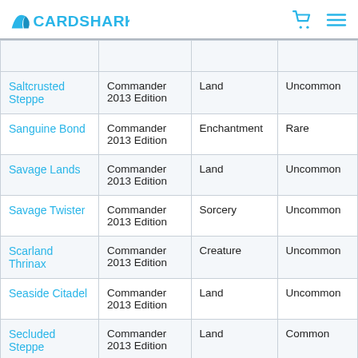CARDSHARK
| Name | Set | Type | Rarity |
| --- | --- | --- | --- |
| Saltcrusted Steppe | Commander 2013 Edition | Land | Uncommon |
| Sanguine Bond | Commander 2013 Edition | Enchantment | Rare |
| Savage Lands | Commander 2013 Edition | Land | Uncommon |
| Savage Twister | Commander 2013 Edition | Sorcery | Uncommon |
| Scarland Thrinax | Commander 2013 Edition | Creature | Uncommon |
| Seaside Citadel | Commander 2013 Edition | Land | Uncommon |
| Secluded Steppe | Commander 2013 Edition | Land | Common |